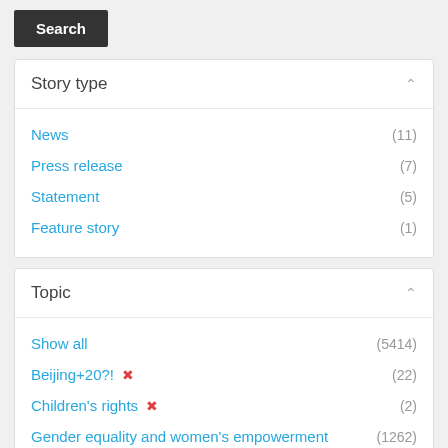Search
Story type
News (11)
Press release (7)
Statement (5)
Feature story (1)
Topic
Show all (5414)
Beijing+20?! (22)
Children's rights (2)
Gender equality and women's empowerment (1262)
Ending violence against women and girls (882)
Economic empowerment (476)